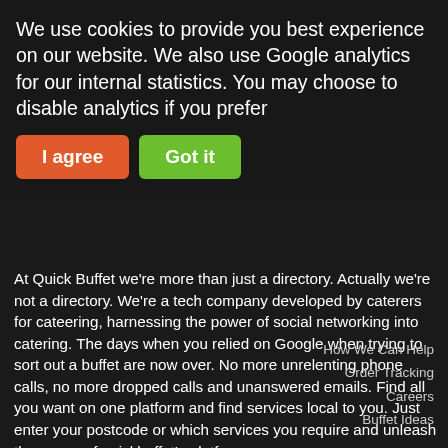We use cookies to provide you best experience on our website. We also use Google analytics for our internal statistics. You may choose to disable analytics if you prefer
I agree | Got it
At Quick Buffet we're more than just a directory. Actually we're not a directory. We're a tech company developed by caterers for cateering, harnessing the power of social networking into catering. The days when you relied on Google when trying to sort out a buffet are now over. No more unrelenting phone calls, no more dropped calls and unanswered emails. Find all you want on one platform and find services local to you. Just enter your postcode or which services you require and unleash the power of quickbuffet's platform.
OR GET QUOTES IN JUST 60 SECONDS!
Quick links
Search Now
Get Quotes
How We Can Help
Order Tracking
Careers
Buffet Ideas